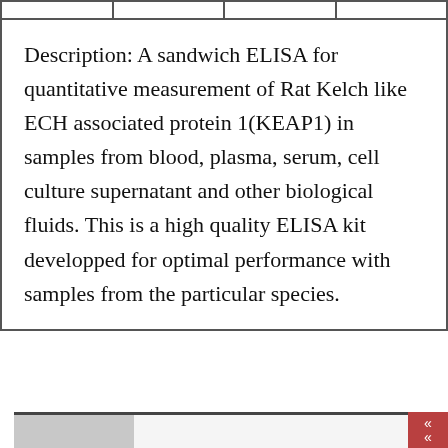| Description: A sandwich ELISA for quantitative measurement of Rat Kelch like ECH associated protein 1(KEAP1) in samples from blood, plasma, serum, cell culture supernatant and other biological fluids. This is a high quality ELISA kit developped for optimal performance with samples from the particular species. |